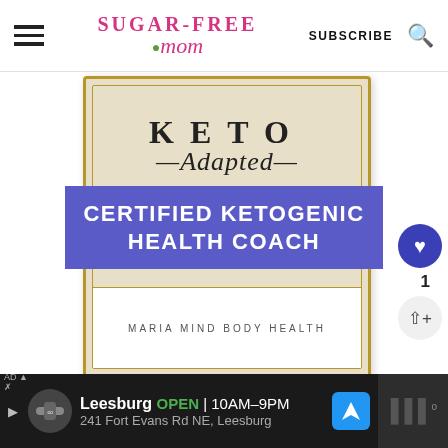Sugar-Free Mom | SUBSCRIBE
[Figure (illustration): Book cover for 'Keto Adapted' by Maria Mind Body Health, with 'Certified Ketogenic Health Coach' banner overlaid in purple]
Leesburg OPEN 10AM–9PM 241 Fort Evans Rd NE, Leesburg